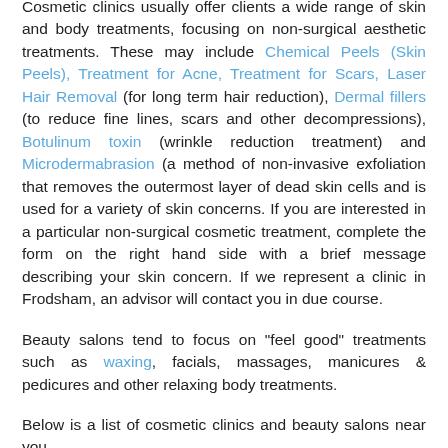Cosmetic clinics usually offer clients a wide range of skin and body treatments, focusing on non-surgical aesthetic treatments. These may include Chemical Peels (Skin Peels), Treatment for Acne, Treatment for Scars, Laser Hair Removal (for long term hair reduction), Dermal fillers (to reduce fine lines, scars and other decompressions), Botulinum toxin (wrinkle reduction treatment) and Microdermabrasion (a method of non-invasive exfoliation that removes the outermost layer of dead skin cells and is used for a variety of skin concerns. If you are interested in a particular non-surgical cosmetic treatment, complete the form on the right hand side with a brief message describing your skin concern. If we represent a clinic in Frodsham, an advisor will contact you in due course.
Beauty salons tend to focus on "feel good" treatments such as waxing, facials, massages, manicures & pedicures and other relaxing body treatments.
Below is a list of cosmetic clinics and beauty salons near you.